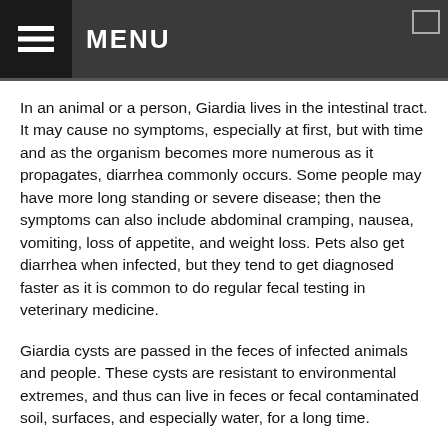MENU
In an animal or a person, Giardia lives in the intestinal tract. It may cause no symptoms, especially at first, but with time and as the organism becomes more numerous as it propagates, diarrhea commonly occurs. Some people may have more long standing or severe disease; then the symptoms can also include abdominal cramping, nausea, vomiting, loss of appetite, and weight loss. Pets also get diarrhea when infected, but they tend to get diagnosed faster as it is common to do regular fecal testing in veterinary medicine.
Giardia cysts are passed in the feces of infected animals and people. These cysts are resistant to environmental extremes, and thus can live in feces or fecal contaminated soil, surfaces, and especially water, for a long time.
Pets and people are usually exposed from contaminated sources in the environment. Giardia is a